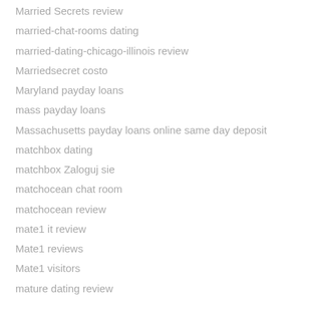Married Secrets review
married-chat-rooms dating
married-dating-chicago-illinois review
Marriedsecret costo
Maryland payday loans
mass payday loans
Massachusetts payday loans online same day deposit
matchbox dating
matchbox Zaloguj sie
matchocean chat room
matchocean review
mate1 it review
Mate1 reviews
Mate1 visitors
mature dating review